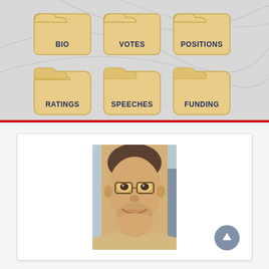[Figure (infographic): Navigation folder icons grid: BIO, VOTES, POSITIONS (top row), RATINGS, SPEECHES, FUNDING (bottom row) on grey swirl background]
[Figure (photo): Portrait photo of a smiling middle-aged man wearing glasses and a suit with tie, in a white card panel]
[Figure (other): Scroll-to-top circular button with upward arrow in grey]